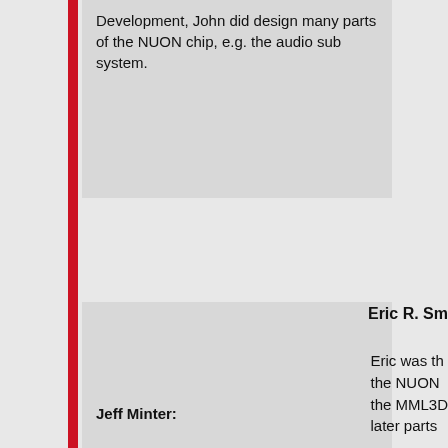Development, John did design many parts of the NUON chip, e.g. the audio sub system.
Eric R. Sm...
Eric was th... the NUON... the MML3D... later parts...
Jeff Minter: